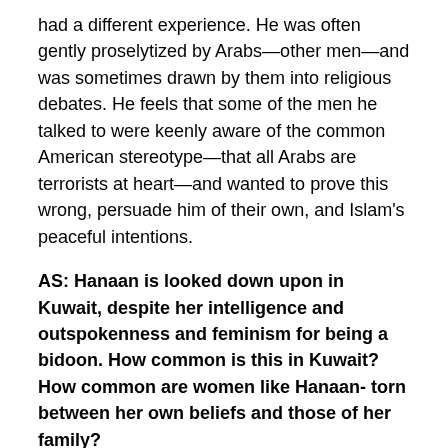had a different experience. He was often gently proselytized by Arabs—other men—and was sometimes drawn by them into religious debates. He feels that some of the men he talked to were keenly aware of the common American stereotype—that all Arabs are terrorists at heart—and wanted to prove this wrong, persuade him of their own, and Islam's peaceful intentions.
AS: Hanaan is looked down upon in Kuwait, despite her intelligence and outspokenness and feminism for being a bidoon. How common is this in Kuwait? How common are women like Hanaan- torn between her own beliefs and those of her family?
AH: The character of Hanaan was inspired by a woman I came to know in Kuwait. She was an uncommon woman by any measure. She felt alone, misunderstood, and